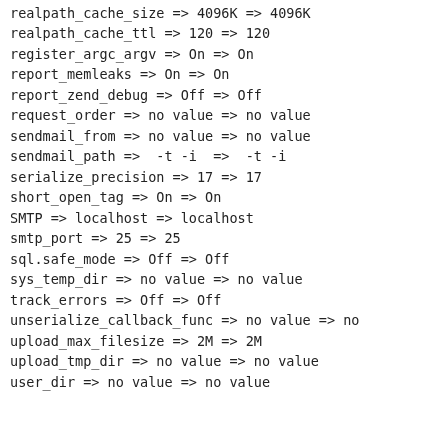realpath_cache_size => 4096K => 4096K
realpath_cache_ttl => 120 => 120
register_argc_argv => On => On
report_memleaks => On => On
report_zend_debug => Off => Off
request_order => no value => no value
sendmail_from => no value => no value
sendmail_path =>  -t -i  =>  -t -i
serialize_precision => 17 => 17
short_open_tag => On => On
SMTP => localhost => localhost
smtp_port => 25 => 25
sql.safe_mode => Off => Off
sys_temp_dir => no value => no value
track_errors => Off => Off
unserialize_callback_func => no value => no
upload_max_filesize => 2M => 2M
upload_tmp_dir => no value => no value
user_dir => no value => no value